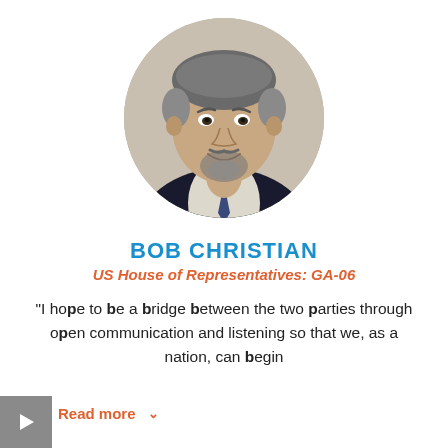[Figure (photo): Circular headshot portrait of Bob Christian, a middle-aged man with salt-and-pepper hair and a beard, wearing a dark suit and tie, smiling.]
BOB CHRISTIAN
US House of Representatives: GA-06
"I hope to be a bridge between the two parties through open communication and listening so that we, as a nation, can begin
Read more ˅